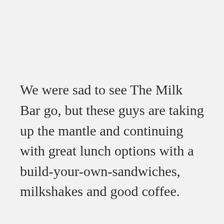We were sad to see The Milk Bar go, but these guys are taking up the mantle and continuing with great lunch options with a build-your-own-sandwiches, milkshakes and good coffee.